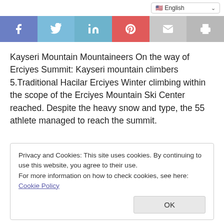English (language selector)
[Figure (infographic): Social share bar with Facebook, Twitter, LinkedIn, Pinterest, Email, and Print buttons]
Kayseri Mountain Mountaineers On the way of Erciyes Summit: Kayseri mountain climbers 5.Traditional Hacilar Erciyes Winter climbing within the scope of the Erciyes Mountain Ski Center reached. Despite the heavy snow and type, the 55 athlete managed to reach the summit.
Privacy and Cookies: This site uses cookies. By continuing to use this website, you agree to their use.
For more information on how to check cookies, see here: Cookie Policy
OK